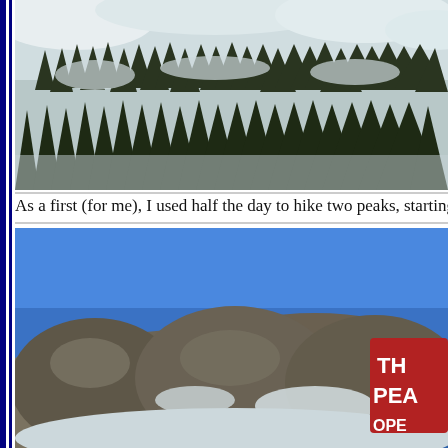[Figure (photo): Snow-covered mountain slope densely covered with dark evergreen pine trees, winter alpine landscape viewed from below]
As a first (for me), I used half the day to hike two peaks, starting w
[Figure (photo): Rocky mountain peak with large dark boulders against a clear blue sky, with snow patches and a red sign partially visible on the right reading 'TH PEA OPE']